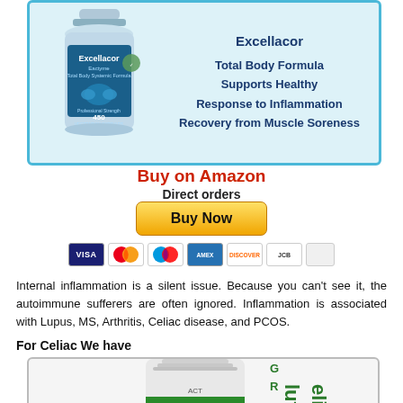[Figure (photo): Excellacor supplement bottle in a teal bordered product box with bullet points: Total Body Formula, Supports Healthy Response to Inflammation, Recovery from Muscle Soreness]
Buy on Amazon
Direct orders
[Figure (other): Yellow Buy Now button with payment icons (Visa, Mastercard, Maestro, Amex, Discover, JCB, blank)]
Internal inflammation is a silent issue. Because you can't see it, the autoimmune sufferers are often ignored. Inflammation is associated with Lupus, MS, Arthritis, Celiac disease, and PCOS.
For Celiac We have
[Figure (photo): White supplement bottle with green stripe partially showing text 'Gluten Relief', bottom product box]